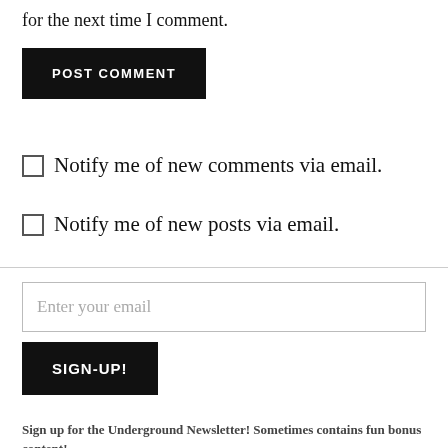for the next time I comment.
POST COMMENT
Notify me of new comments via email.
Notify me of new posts via email.
Enter your email
SIGN-UP!
Sign up for the Underground Newsletter! Sometimes contains fun bonus content!